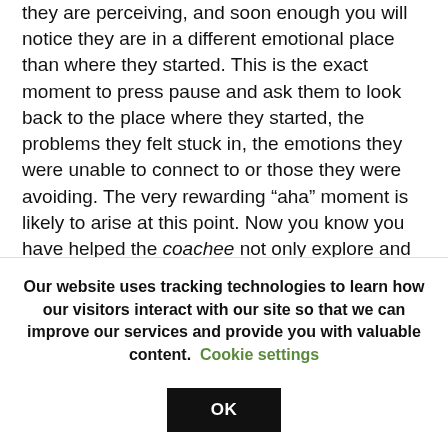they are perceiving, and soon enough you will notice they are in a different emotional place than where they started. This is the exact moment to press pause and ask them to look back to the place where they started, the problems they felt stuck in, the emotions they were unable to connect to or those they were avoiding. The very rewarding “aha” moment is likely to arise at this point. Now you know you have helped the coachee not only explore and discover emotional patterns and emotions they may have not been aware of, but
Our website uses tracking technologies to learn how our visitors interact with our site so that we can improve our services and provide you with valuable content. Cookie settings OK